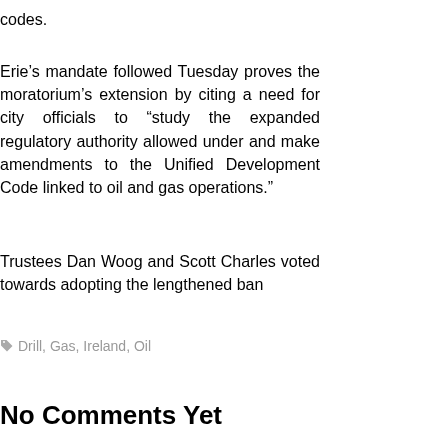codes.
Erie’s mandate followed Tuesday proves the moratorium’s extension by citing a need for city officials to “study the expanded regulatory authority allowed under and make amendments to the Unified Development Code linked to oil and gas operations.”
Trustees Dan Woog and Scott Charles voted towards adopting the lengthened ban
🏷 Drill, Gas, Ireland, Oil
No Comments Yet